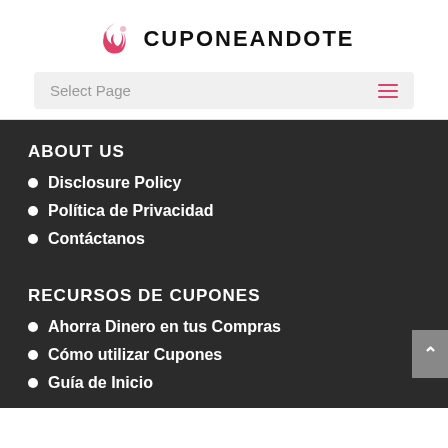[Figure (logo): Cuponeandote logo with pink flame/hand icon and bold text CUPONEANDOTE]
Select Page
ABOUT US
Disclosure Policy
Política de Privacidad
Contáctanos
RECURSOS DE CUPONES
Ahorra Dinero en tus Compras
Cómo utilizar Cupones
Guía de Inicio